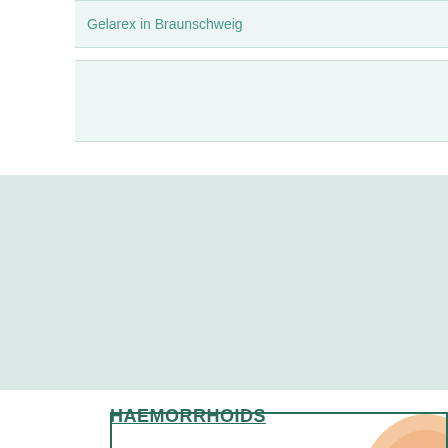Gelarex in Braunschweig
[Figure (illustration): Light teal/mint decorative band section with large letter A in teal serif font on right side]
[Figure (photo): Bordered box with skin/body photo partially visible on right edge]
HAEMORRHOIDS